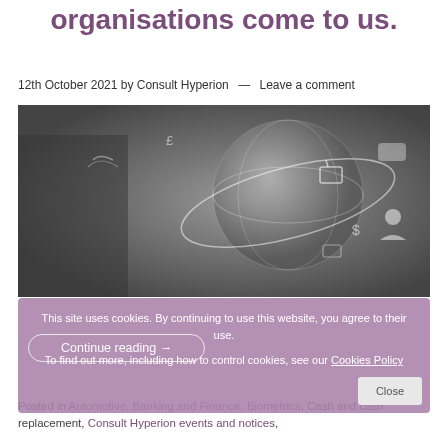organisations come to us.
12th October 2021 by Consult Hyperion — Leave a comment
[Figure (photo): Grayscale digital globe with technology and commerce icons floating around it, person in background]
This site uses cookies. By continuing to use this website, you agree to their use. To find out more, including how to control cookies, see our Cookies Policy
Continue reading →
Posted in Automotive, Banking and Finance, Biometrics, Cash and cash replacement, Consult Hyperion events and notices,